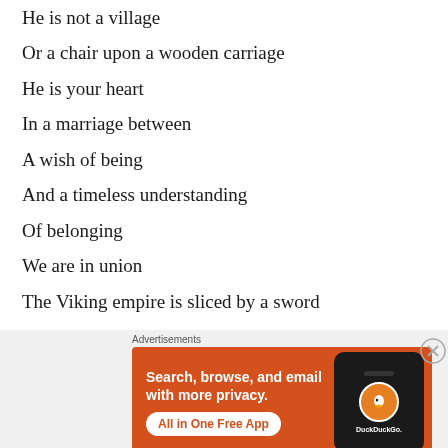He is not a village
Or a chair upon a wooden carriage
He is your heart
In a marriage between
A wish of being
And a timeless understanding
Of belonging
We are in union
The Viking empire is sliced by a sword
We are united by one thing
[Figure (infographic): DuckDuckGo advertisement banner: orange background with text 'Search, browse, and email with more privacy. All in One Free App' and a phone image showing the DuckDuckGo logo.]